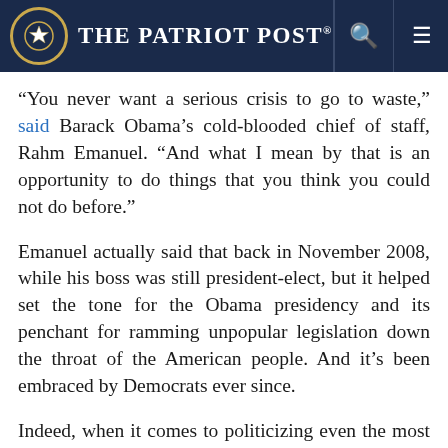The Patriot Post
“You never want a serious crisis to go to waste,” said Barack Obama’s cold-blooded chief of staff, Rahm Emanuel. “And what I mean by that is an opportunity to do things that you think you could not do before.”
Emanuel actually said that back in November 2008, while his boss was still president-elect, but it helped set the tone for the Obama presidency and its penchant for ramming unpopular legislation down the throat of the American people. And it’s been embraced by Democrats ever since.
Indeed, when it comes to politicizing even the most unspeakable of crimes, the Democrats simply can’t help themselves. Less than 24 hours after the Uvalde massacre, even before all the children had